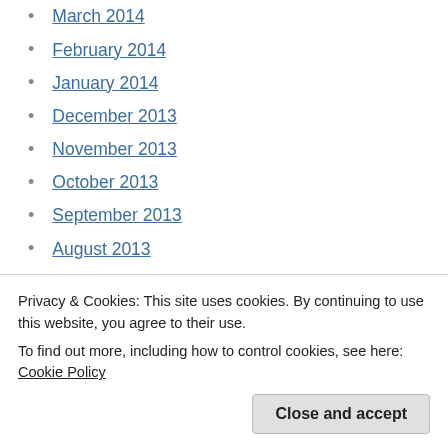March 2014
February 2014
January 2014
December 2013
November 2013
October 2013
September 2013
August 2013
July 2013
June 2013
May 2013
Privacy & Cookies: This site uses cookies. By continuing to use this website, you agree to their use. To find out more, including how to control cookies, see here: Cookie Policy
Close and accept